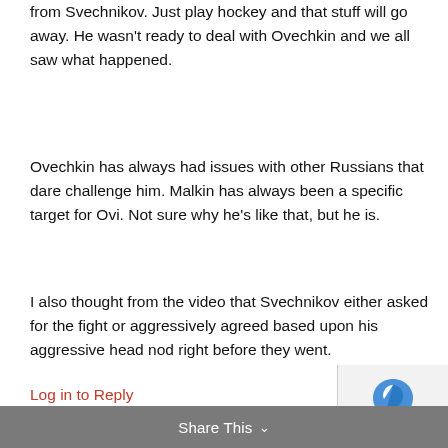from Svechnikov. Just play hockey and that stuff will go away. He wasn't ready to deal with Ovechkin and we all saw what happened.
Ovechkin has always had issues with other Russians that dare challenge him. Malkin has always been a specific target for Ovi. Not sure why he's like that, but he is.
I also thought from the video that Svechnikov either asked for the fight or aggressively agreed based upon his aggressive head nod right before they went.
Log in to Reply
Share This